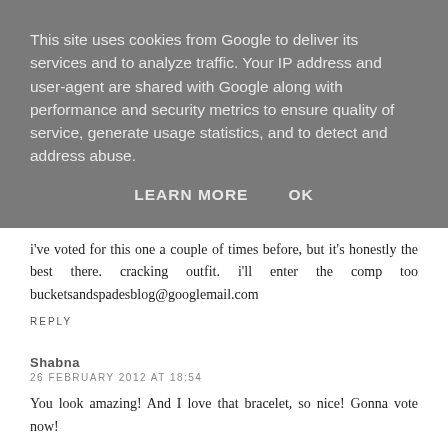This site uses cookies from Google to deliver its services and to analyze traffic. Your IP address and user-agent are shared with Google along with performance and security metrics to ensure quality of service, generate usage statistics, and to detect and address abuse.
LEARN MORE    OK
26 FEBRUARY 2012 AT 18:49
i've voted for this one a couple of times before, but it's honestly the best there. cracking outfit. i'll enter the comp too bucketsandspadesblog@googlemail.com
REPLY
Shabna
26 FEBRUARY 2012 AT 18:54
You look amazing! And I love that bracelet, so nice! Gonna vote now!